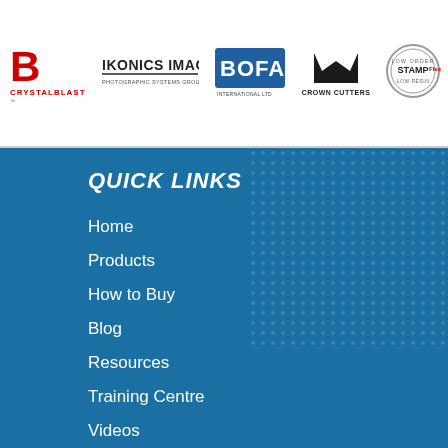[Figure (logo): CrystalBlast logo - red stylized B with CRYSTALBLAST text]
[Figure (logo): IKONICS IMAGING logo - text with photographic systems subtitle]
[Figure (logo): BOFA International Ltd logo - blue rectangle with BOFA text]
[Figure (logo): Crown Cutters logo - black crown icon with text]
[Figure (logo): STAMPflex logo - circular stamp design]
QUICK LINKS
Home
Products
How to Buy
Blog
Resources
Training Centre
Videos
Support
About Us
Contact Us